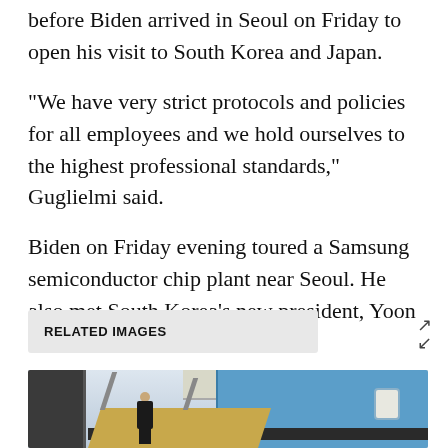before Biden arrived in Seoul on Friday to open his visit to South Korea and Japan.
"We have very strict protocols and policies for all employees and we hold ourselves to the highest professional standards," Guglielmi said.
Biden on Friday evening toured a Samsung semiconductor chip plant near Seoul. He also met South Korea's new president, Yoon Suk Yeol.
RELATED IMAGES
[Figure (photo): Photo of a person in a dark suit descending airplane stairs from Air Force One, with the blue fuselage of the aircraft visible in the background.]